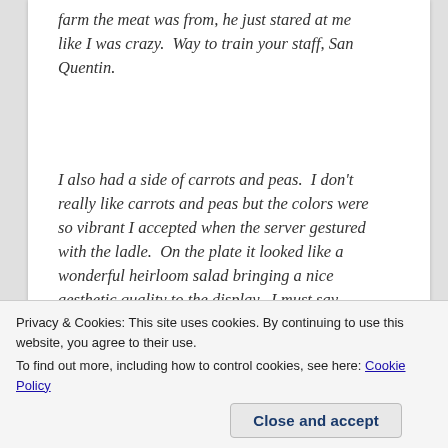farm the meat was from, he just stared at me like I was crazy.  Way to train your staff, San Quentin.
I also had a side of carrots and peas.  I don't really like carrots and peas but the colors were so vibrant I accepted when the server gestured with the ladle.  On the plate it looked like a wonderful heirloom salad bringing a nice aesthetic quality to the display.  I must say, again, I was underwhelmed.  The carrots were mushy and the peas were either not very ripe or undercooked, but they almost had
Privacy & Cookies: This site uses cookies. By continuing to use this website, you agree to their use.
To find out more, including how to control cookies, see here: Cookie Policy